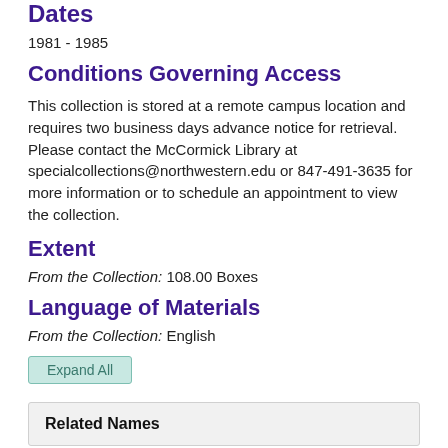Dates
1981 - 1985
Conditions Governing Access
This collection is stored at a remote campus location and requires two business days advance notice for retrieval. Please contact the McCormick Library at specialcollections@northwestern.edu or 847-491-3635 for more information or to schedule an appointment to view the collection.
Extent
From the Collection: 108.00 Boxes
Language of Materials
From the Collection: English
Expand All
Related Names